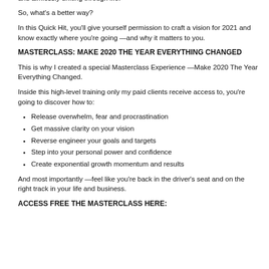On a long enough timeline this creates hopelessness, loss of agency — and aimlessly drifting through life.
So, what's a better way?
In this Quick Hit, you'll give yourself permission to craft a vision for 2021 and know exactly where you're going —and why it matters to you.
MASTERCLASS: MAKE 2020 THE YEAR EVERYTHING CHANGED
This is why I created a special Masterclass Experience —Make 2020 The Year Everything Changed.
Inside this high-level training only my paid clients receive access to, you're going to discover how to:
Release overwhelm, fear and procrastination
Get massive clarity on your vision
Reverse engineer your goals and targets
Step into your personal power and confidence
Create exponential growth momentum and results
And most importantly —feel like you're back in the driver's seat and on the right track in your life and business.
ACCESS FREE THE MASTERCLASS HERE: